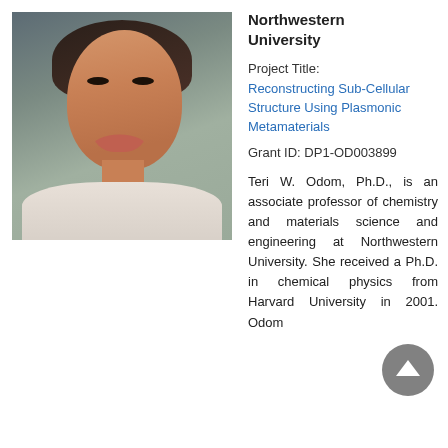[Figure (photo): Headshot photo of Teri W. Odom, Ph.D., a woman with short dark hair, smiling, wearing a white collar shirt, against a grey-green background]
Northwestern University
Project Title:
Reconstructing Sub-Cellular Structure Using Plasmonic Metamaterials
Grant ID: DP1-OD003899
Teri W. Odom, Ph.D., is an associate professor of chemistry and materials science and engineering at Northwestern University. She received a Ph.D. in chemical physics from Harvard University in 2001. Odom